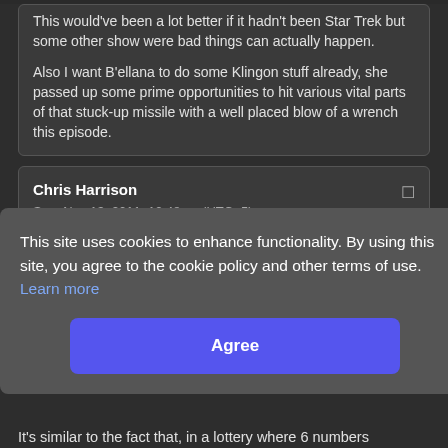This would've been a lot better if it hadn't been Star Trek but some other show were bad things can actually happen.

Also I want B'ellana to do some Klingon stuff already, she passed up some prime opportunities to hit various vital parts of that stuck-up missile with a well placed blow of a wrench this episode.
Chris Harrison
Sun, Nov 13, 2011, 12:48pm (UTC -5)
This site uses cookies to enhance functionality. By using this site, you agree to the cookie policy and other terms of use. Learn more
Agree
It's similar to the fact that, in a lottery where 6 numbers